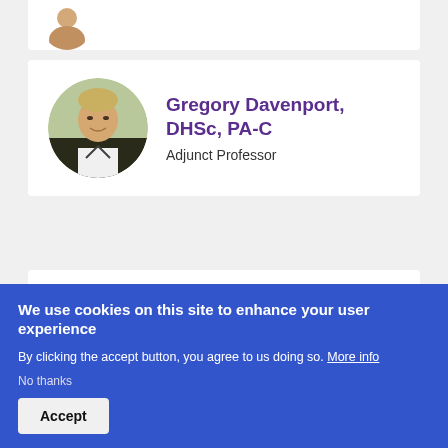[Figure (photo): Partial view of a person's photo at top of page, cropped circle avatar]
Gregory Davenport, DHSc, PA-C
Adjunct Professor
[Figure (photo): Circular headshot of Gregory Davenport, a man in a suit smiling]
Don Diemer, DHSc, PA-C
Associate Professor of Family and
[Figure (photo): Circular headshot of Don Diemer, a man with glasses]
We use cookies on this site to enhance your user experience
By clicking the accept button, you agree to us doing so. More info
No thanks
Accept